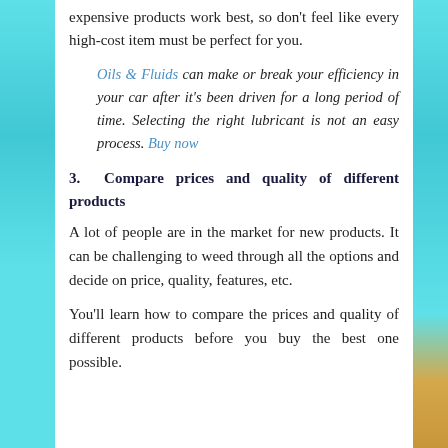expensive products work best, so don't feel like every high-cost item must be perfect for you.
Oils & Fluids can make or break your efficiency in your car after it's been driven for a long period of time. Selecting the right lubricant is not an easy process. Buy now
3. Compare prices and quality of different products
A lot of people are in the market for new products. It can be challenging to weed through all the options and decide on price, quality, features, etc.
You'll learn how to compare the prices and quality of different products before you buy the best one possible.